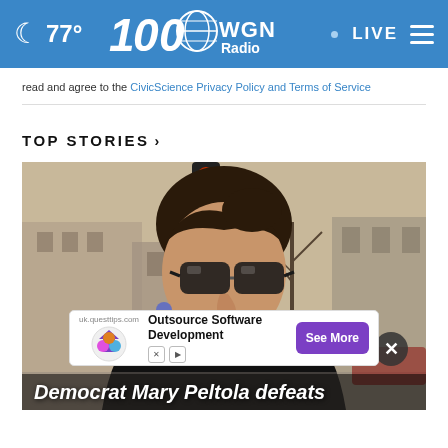🌙 77° | WGN Radio | LIVE
read and agree to the CivicScience Privacy Policy and Terms of Service
TOP STORIES ›
[Figure (photo): Woman with dark hair in updo wearing large sunglasses and black jacket, smiling outdoors on a city street with traffic light and bare trees in background]
Democrat Mary Peltola defeats